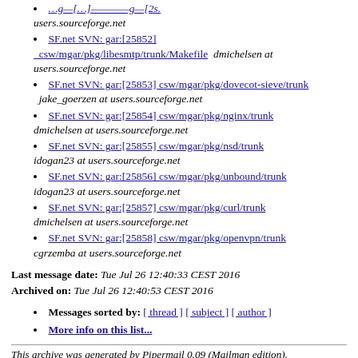[partial link] users.sourceforge.net
SF.net SVN: gar:[25852] csw/mgar/pkg/libesmtp/trunk/Makefile   dmichelsen at users.sourceforge.net
SF.net SVN: gar:[25853] csw/mgar/pkg/dovecot-sieve/trunk  jake_goerzen at users.sourceforge.net
SF.net SVN: gar:[25854] csw/mgar/pkg/nginx/trunk  dmichelsen at users.sourceforge.net
SF.net SVN: gar:[25855] csw/mgar/pkg/nsd/trunk  idogan23 at users.sourceforge.net
SF.net SVN: gar:[25856] csw/mgar/pkg/unbound/trunk  idogan23 at users.sourceforge.net
SF.net SVN: gar:[25857] csw/mgar/pkg/curl/trunk  dmichelsen at users.sourceforge.net
SF.net SVN: gar:[25858] csw/mgar/pkg/openvpn/trunk  cgrzemba at users.sourceforge.net
Last message date: Tue Jul 26 12:40:33 CEST 2016
Archived on: Tue Jul 26 12:40:53 CEST 2016
Messages sorted by: [ thread ] [ subject ] [ author ]
More info on this list...
This archive was generated by Pipermail 0.09 (Mailman edition).